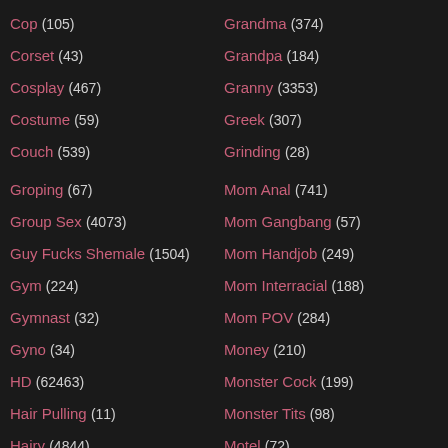Cop (105)
Corset (43)
Cosplay (467)
Costume (59)
Couch (539)
Groping (67)
Group Sex (4073)
Guy Fucks Shemale (1504)
Gym (224)
Gymnast (32)
Gyno (34)
HD (62463)
Hair Pulling (11)
Hairy (4844)
Hairy Lesbian (237)
Grandma (374)
Grandpa (184)
Granny (3353)
Greek (307)
Grinding (28)
Mom Anal (741)
Mom Gangbang (57)
Mom Handjob (249)
Mom Interracial (188)
Mom POV (284)
Money (210)
Monster Cock (199)
Monster Tits (98)
Motel (72)
Mouth Fucking (770)